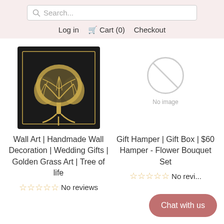Search... Log in Cart (0) Checkout
[Figure (photo): Framed wall art depicting a golden tree of life on a black background]
[Figure (other): No image placeholder with circle-slash icon]
Wall Art | Handmade Wall Decoration | Wedding Gifts | Golden Grass Art | Tree of life
No reviews
Gift Hamper | Gift Box | $60 Hamper - Flower Bouquet Set
No reviews
Chat with us